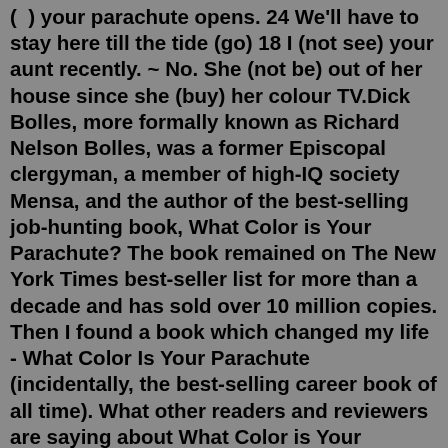( ) your parachute opens. 24 We'll have to stay here till the tide (go) 18 I (not see) your aunt recently. ~ No. She (not be) out of her house since she (buy) her colour TV.Dick Bolles, more formally known as Richard Nelson Bolles, was a former Episcopal clergyman, a member of high-IQ society Mensa, and the author of the best-selling job-hunting book, What Color is Your Parachute? The book remained on The New York Times best-seller list for more than a decade and has sold over 10 million copies. Then I found a book which changed my life - What Color Is Your Parachute (incidentally, the best-selling career book of all time). What other readers and reviewers are saying about What Color is Your Parachute? and Dick Bolles: "This…edition is as relevant today as when it was first published.Richard (Dick) Bolles' landmark book "What Color is Your Parachute?" has sold more than 10 million copies and is revised annually. Parachute made the Library of Congress list of 25 books that shaped reader's lives, and has